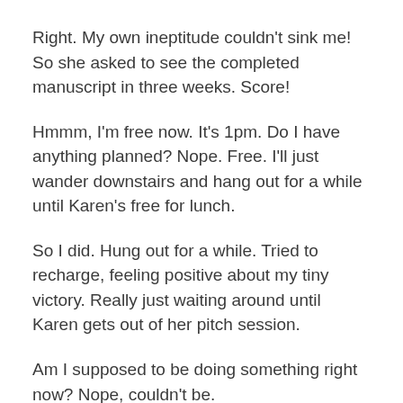Right.  My own ineptitude couldn't sink me!  So she asked to see the completed manuscript in three weeks.  Score!
Hmmm, I'm free now.  It's 1pm.  Do I have anything planned?  Nope.  Free.  I'll just wander downstairs and hang out for a while until Karen's free for lunch.
So I did.  Hung out for a while.  Tried to recharge, feeling positive about my tiny victory.  Really just waiting around until Karen gets out of her pitch session.
Am I supposed to be doing something right now?  Nope, couldn't be.
I'll just poke my head into this room and see